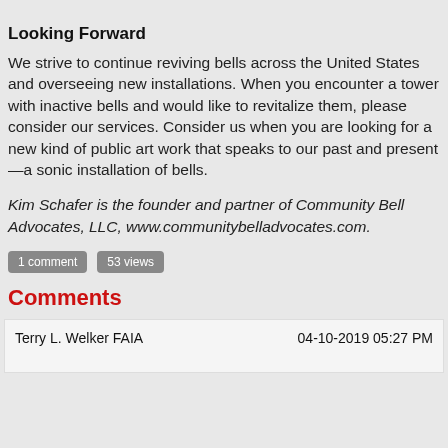Looking Forward
We strive to continue reviving bells across the United States and overseeing new installations. When you encounter a tower with inactive bells and would like to revitalize them, please consider our services. Consider us when you are looking for a new kind of public art work that speaks to our past and present—a sonic installation of bells.
Kim Schafer is the founder and partner of Community Bell Advocates, LLC, www.communitybelladvocates.com.
1 comment   53 views
Comments
Terry L. Welker FAIA   04-10-2019 05:27 PM